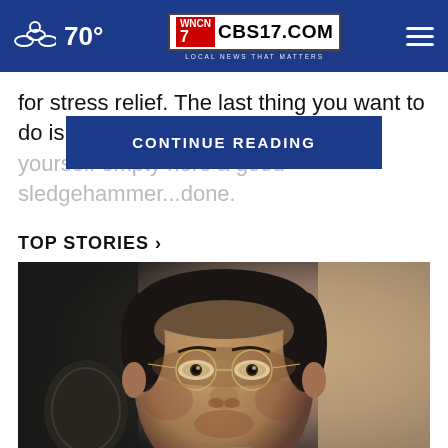70° CBS17.COM LOCAL NEWS THAT MATTERS
for stress relief. The last thing you want to do is find yourself empty [CONTINUE READING] here a good sledgehammer... done.
CONTINUE READING
TOP STORIES ›
[Figure (photo): Close-up portrait of an Asian man wearing thin wire-framed glasses, in a dark setting]